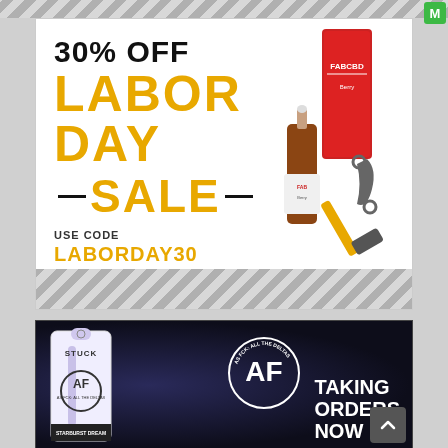[Figure (infographic): FAB CBD 30% Off Labor Day Sale advertisement. Text: 30% OFF LABOR DAY SALE — USE CODE LABORDAY30 — SHOP NOW button. Product image of CBD oil bottle and red box with tools.]
[Figure (infographic): Stuck AF cannabis brand advertisement showing a vape cartridge product labeled STARBURST DREAM INDICA, AF logo circle with text AS FCK ALL THE DELTAS, and text TAKING ORDERS NOW.]